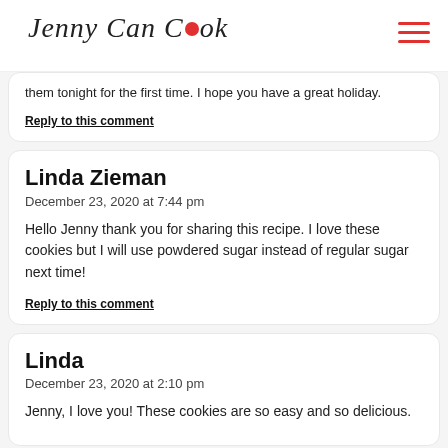Jenny Can Cook
them tonight for the first time. I hope you have a great holiday.
Reply to this comment
Linda Zieman
December 23, 2020 at 7:44 pm

Hello Jenny thank you for sharing this recipe. I love these cookies but I will use powdered sugar instead of regular sugar next time!

Reply to this comment
Linda
December 23, 2020 at 2:10 pm

Jenny, I love you! These cookies are so easy and so delicious.